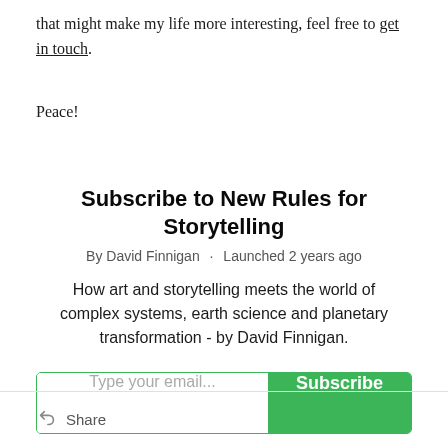that might make my life more interesting, feel free to get in touch.
Peace!
Subscribe to New Rules for Storytelling
By David Finnigan · Launched 2 years ago
How art and storytelling meets the world of complex systems, earth science and planetary transformation - by David Finnigan.
Type your email... Subscribe
Share